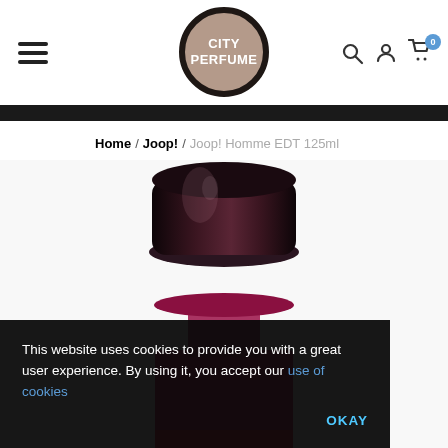City Perfume — navigation header with hamburger menu, logo, search, account, and cart icons
Home / Joop! / Joop! Homme EDT 125ml
[Figure (photo): Close-up photo of Joop! Homme EDT 125ml perfume bottle showing the dark cap and upper portion of the pink/red bottle]
This website uses cookies to provide you with a great user experience. By using it, you accept our use of cookies
OKAY